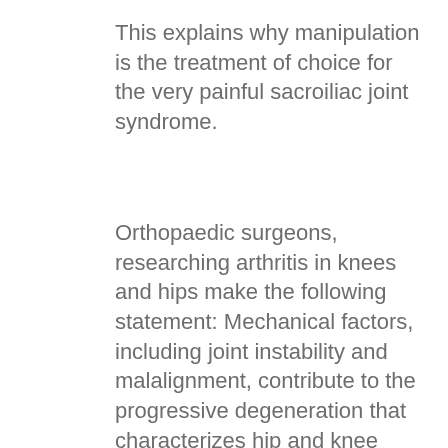This explains why manipulation is the treatment of choice for the very painful sacroiliac joint syndrome.
Orthopaedic surgeons, researching arthritis in knees and hips make the following statement: Mechanical factors, including joint instability and malalignment, contribute to the progressive degeneration that characterizes hip and knee arthritis. Would that apply to the sacroiliac joint? Yes, indeed.